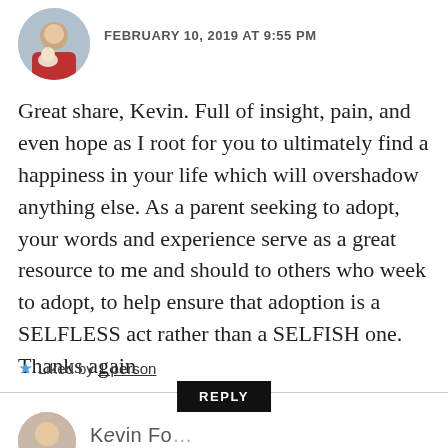[Figure (photo): Circular avatar photo of a person holding a newborn baby, top-left of comment]
FEBRUARY 10, 2019 AT 9:55 PM
Great share, Kevin. Full of insight, pain, and even hope as I root for you to ultimately find a happiness in your life which will overshadow anything else. As a parent seeking to adopt, your words and experience serve as a great resource to me and should to others who week to adopt, to help ensure that adoption is a SELFLESS act rather than a SELFISH one. Thanks again
Liked by 1 person
REPLY
[Figure (photo): Circular avatar photo of a person, bottom of page, partially visible]